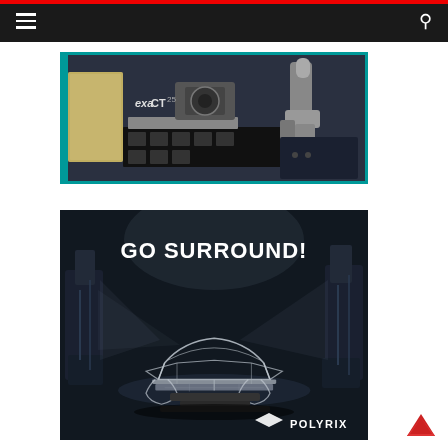Navigation bar with hamburger menu and search icon
[Figure (photo): Industrial CT scanning machine (exaCT) with robotic arm, showing manufacturing/inspection equipment on a workbench with a teal/blue border frame.]
[Figure (photo): Promotional image for POLYRIX 'GO SURROUND!' 3D scanning system showing a car chassis/frame being scanned by multiple robotic arms in a dark studio environment. White bold text reads 'GO SURROUND!' with POLYRIX logo at bottom right.]